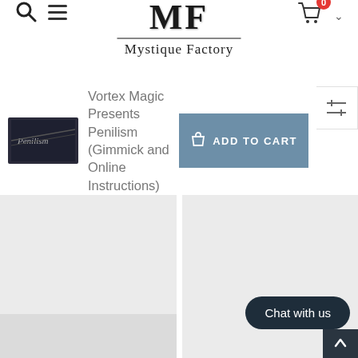[Figure (logo): Mystique Factory logo with MF monogram and brand name]
Vortex Magic Presents Penilism (Gimmick and Online Instructions)
[Figure (other): ADD TO CART button]
[Figure (other): Two product image panels side by side]
Chat with us